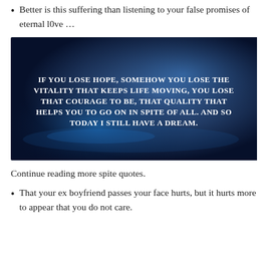Better is this suffering than listening to your false promises of eternal l0ve …
[Figure (photo): Dark blue background image with white bold serif text reading: IF YOU LOSE HOPE, SOMEHOW YOU LOSE THE VITALITY THAT KEEPS LIFE MOVING, YOU LOSE THAT COURAGE TO BE, THAT QUALITY THAT HELPS YOU TO GO ON IN SPITE OF ALL. AND SO TODAY I STILL HAVE A DREAM.]
Continue reading more spite quotes.
That your ex boyfriend passes your face hurts, but it hurts more to appear that you do not care.